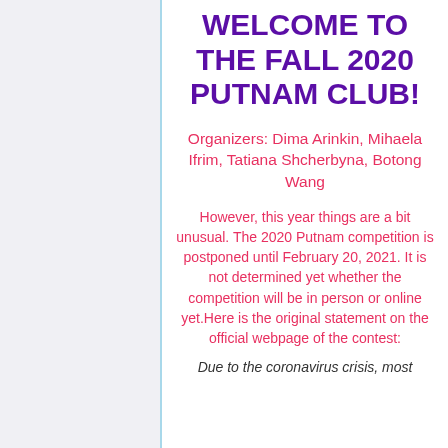WELCOME TO THE FALL 2020 PUTNAM CLUB!
Organizers: Dima Arinkin, Mihaela Ifrim, Tatiana Shcherbyna, Botong Wang
However, this year things are a bit unusual. The 2020 Putnam competition is postponed until February 20, 2021. It is not determined yet whether the competition will be in person or online yet.Here is the original statement on the official webpage of the contest:
Due to the coronavirus crisis, most